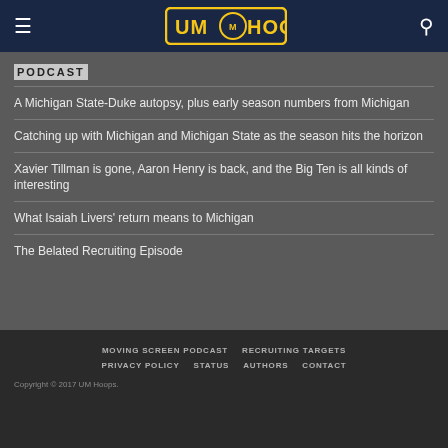UM Hoops
PODCAST
A Michigan State-Duke autopsy, plus early season numbers from Michigan
Catching up with Michigan and Michigan State as the season hits the horizon
Xavier Tillman is gone, Aaron Henry is back, and the Big Ten is all kinds of interesting
What Isaiah Livers' return means to Michigan
The Belated Recruiting Episode
MOVING SCREEN PODCAST   RECRUITING TARGETS   PRIVACY POLICY   STATUS   AUTHORS   CONTACT   Copyright © 2017 UM Hoops.